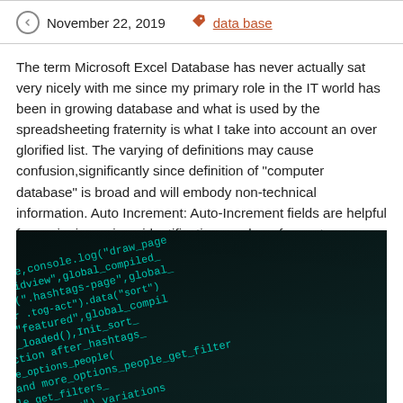November 22, 2019   data base
The term Microsoft Excel Database has never actually sat very nicely with me since my primary role in the IT world has been in growing database and what is used by the spreadsheeting fraternity is what I take into account an over glorified list. The varying of definitions may cause confusion,significantly since definition of “computer database” is broad and will embody non-technical information. Auto Increment: Auto-Increment fields are helpful for assigning unique identification numbers for customers, merchandise, and clients, and so forth.
[Figure (photo): Dark background with cyan/teal colored programming code text, showing JavaScript-like code snippets including sort, console.log, people-gridview, global_compiled, draw_view, hashtags-page, functional-bar, tog-act, data, sort, grid_3, featured, after_people_loaded, Init, function, after_hashtags, loaded, init_expand_more_options, people_get_filters, function, appl-moreoptions-form, vb-li, tog, people, variations]